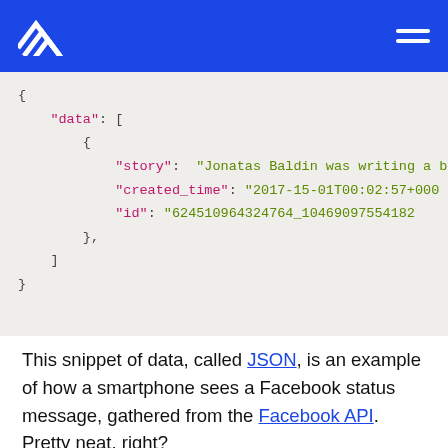Accenture logo and navigation menu
[Figure (screenshot): JSON code snippet showing Facebook API response data with keys: data (array), story, created_time, id]
This snippet of data, called JSON, is an example of how a smartphone sees a Facebook status message, gathered from the Facebook API. Pretty neat, right?